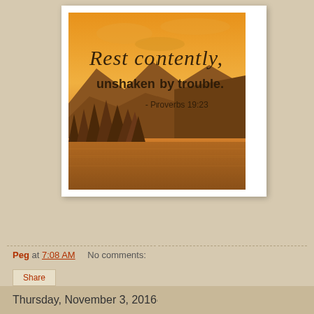[Figure (photo): Inspirational quote image showing a mountain lake landscape at sunset with warm orange hues, evergreen trees in the foreground, and mountains in the background. Text overlay reads: 'Rest contently, unshaken by trouble. - Proverbs 19:23']
Peg at 7:08 AM    No comments:
Share
Thursday, November 3, 2016